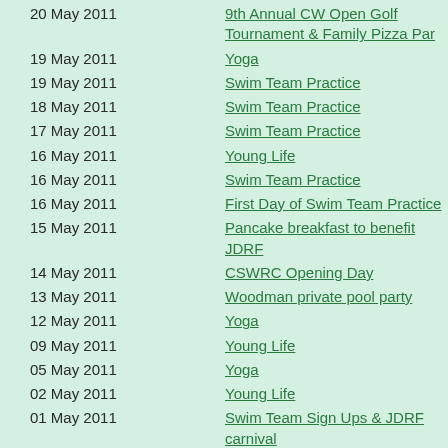20 May 2011 | 9th Annual CW Open Golf Tournament & Family Pizza Par
19 May 2011 | Yoga
19 May 2011 | Swim Team Practice
18 May 2011 | Swim Team Practice
17 May 2011 | Swim Team Practice
16 May 2011 | Young Life
16 May 2011 | Swim Team Practice
16 May 2011 | First Day of Swim Team Practice
15 May 2011 | Pancake breakfast to benefit JDRF
14 May 2011 | CSWRC Opening Day
13 May 2011 | Woodman private pool party
12 May 2011 | Yoga
09 May 2011 | Young Life
05 May 2011 | Yoga
02 May 2011 | Young Life
01 May 2011 | Swim Team Sign Ups & JDRF carnival
30 Apr 2011 | Casino Night Maria Smithson
30 Apr 2011 | CWSRC Volunteer Workday- please volunteer your time
29 Apr 2011 | clubhouse rental Jill Criswell
28 Apr 2011 | Yoga
25 Apr 2011 | Young Life